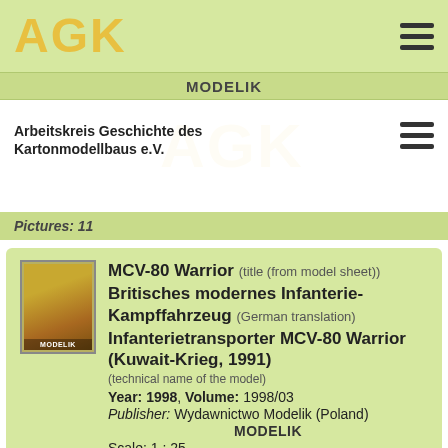AGK
MODELIK
Arbeitskreis Geschichte des Kartonmodellbaus e.V.
Pictures: 11
MCV-80 Warrior (title (from model sheet)) Britisches modernes Infanterie-Kampffahrzeug (German translation) Infanterietransporter MCV-80 Warrior (Kuwait-Krieg, 1991) (technical name of the model) Year: 1998, Volume: 1998/03 Publisher: Wydawnictwo Modelik (Poland) MODELIK Scale: 1 : 25